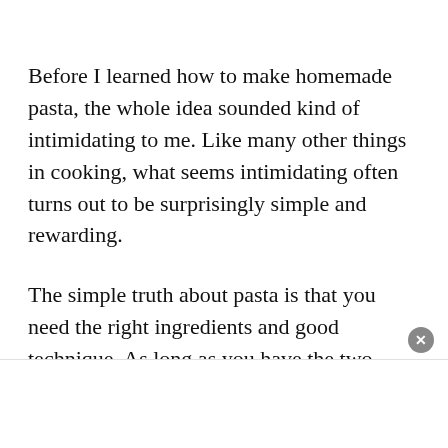Before I learned how to make homemade pasta, the whole idea sounded kind of intimidating to me. Like many other things in cooking, what seems intimidating often turns out to be surprisingly simple and rewarding.
The simple truth about pasta is that you need the right ingredients and good technique. As long as you have the two, your homemade pasta is going to...